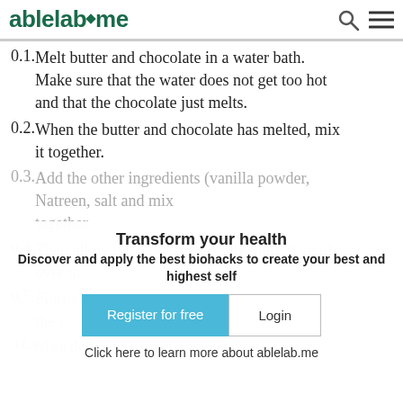ablelab.me
Melt butter and chocolate in a water bath. Make sure that the water does not get too hot and that the chocolate just melts.
When the butter and chocolate has melted, mix it together.
Add the other ingredients (vanilla powder, Natreen, salt, nuts/seeds?) and mix together.
Then allow it to cool before spreading it gently over the...
Finish by cooling the whole cake again until the top...
When done, you can cut it into pieces.
Transform your health
Discover and apply the best biohacks to create your best and highest self
Register for free   Login
Click here to learn more about ablelab.me